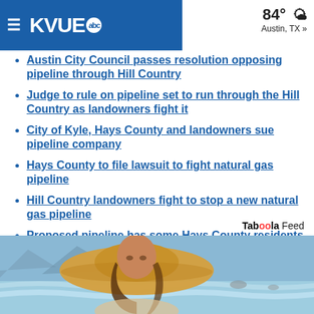KVUE abc — 84° Austin, TX »
Austin City Council passes resolution opposing pipeline through Hill Country
Judge to rule on pipeline set to run through the Hill Country as landowners fight it
City of Kyle, Hays County and landowners sue pipeline company
Hays County to file lawsuit to fight natural gas pipeline
Hill Country landowners fight to stop a new natural gas pipeline
Proposed pipeline has some Hays County residents concerned for nearby watershed
Taboola Feed
[Figure (photo): Beach scene with woman wearing a yellow sun hat, ocean waves in background]